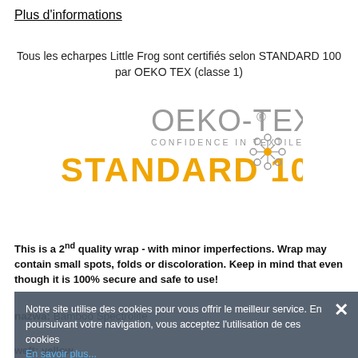Plus d'informations
Tous les echarpes Little Frog sont certifiés selon STANDARD 100 par OEKO TEX (classe 1)
[Figure (logo): OEKO-TEX® CONFIDENCE IN TEXTILES STANDARD 100 logo with decorative snowflake/flower emblem]
This is a 2nd quality wrap - with minor imperfections. Wrap may contain small spots, folds or discoloration. Keep in mind that even though it is 100% secure and safe to use!
nazwa: Bamboo Spectrolite
Notre site utilise des cookies pour vous offrir le meilleur service. En poursuivant votre navigation, vous acceptez l'utilisation de ces cookies
En savoir plus...
Close
weft: yellow